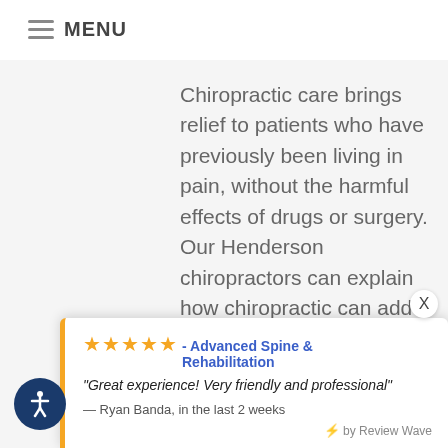≡ MENU
Chiropractic care brings relief to patients who have previously been living in pain, without the harmful effects of drugs or surgery. Our Henderson chiropractors can explain how chiropractic can add years to your life
★★★★★ - Advanced Spine & Rehabilitation
"Great experience! Very friendly and professional"
— Ryan Banda, in the last 2 weeks
⚡ by Review Wave